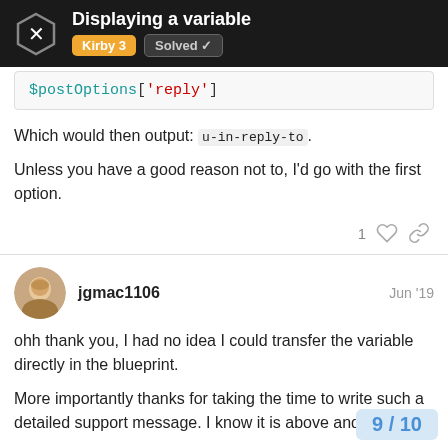Displaying a variable | Kirby 3 | Solved
$postOptions['reply']
Which would then output: u-in-reply-to.
Unless you have a good reason not to, I'd go with the first option.
jgmac1106   Jun '19
ohh thank you, I had no idea I could transfer the variable directly in the blueprint.
More importantly thanks for taking the time to write such a detailed support message. I know it is above and beyond.
Good luck at the graduation this weekend!
9 / 10